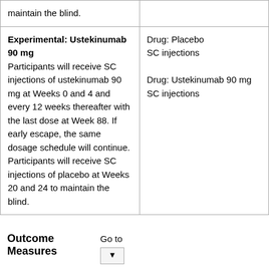| Arm | Intervention/Treatment |
| --- | --- |
| maintain the blind. |  |
| Experimental: Ustekinumab 90 mg
Participants will receive SC injections of ustekinumab 90 mg at Weeks 0 and 4 and every 12 weeks thereafter with the last dose at Week 88. If early escape, the same dosage schedule will continue. Participants will receive SC injections of placebo at Weeks 20 and 24 to maintain the blind. | Drug: Placebo
SC injections

Drug: Ustekinumab 90 mg
SC injections |
Outcome Measures
Go to